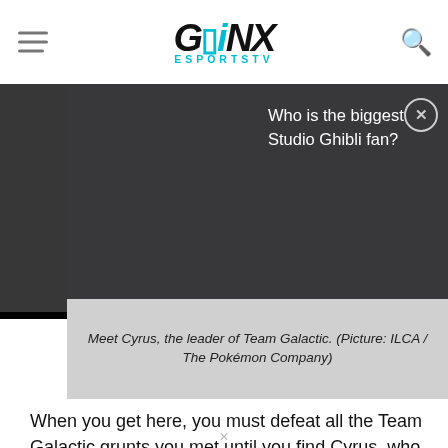GINX ESPORTSTV
[Figure (screenshot): Website screenshot showing GINX Esports TV page with a black video player area showing a white circle icon, overlaid by a dark popup banner asking 'Who is the biggest Studio Ghibli fan?' with a close button, and a dark navy image area below showing a character (Cyrus from Pokemon).]
Meet Cyrus, the leader of Team Galactic. (Picture: ILCA / The Pokémon Company)
When you get here, you must defeat all the Team Galactic grunts you met until you find Cyrus, who you will have to defeat to continue your adventure as well as obtain the highly valued Master Ball.